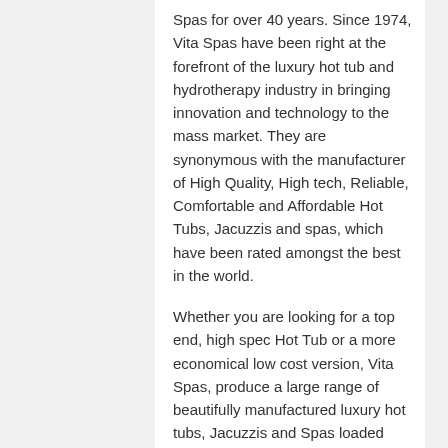Spas for over 40 years. Since 1974, Vita Spas have been right at the forefront of the luxury hot tub and hydrotherapy industry in bringing innovation and technology to the mass market. They are synonymous with the manufacturer of High Quality, High tech, Reliable, Comfortable and Affordable Hot Tubs, Jacuzzis and spas, which have been rated amongst the best in the world.
Whether you are looking for a top end, high spec Hot Tub or a more economical low cost version, Vita Spas, produce a large range of beautifully manufactured luxury hot tubs, Jacuzzis and Spas loaded with features and specs to suit all needs and budgets.